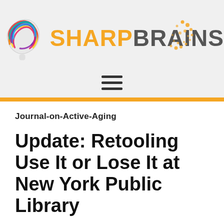[Figure (logo): SharpBrains logo with colorful brain illustration and orange/grey brand name text, plus a starburst dot pattern graphic in upper right]
[Figure (other): Hamburger menu icon (three horizontal lines) for mobile navigation]
Journal-on-Active-Aging
Update: Retooling Use It or Lose It at New York Public Library